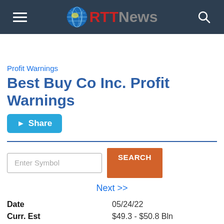RTT News
Profit Warnings
Best Buy Co Inc. Profit Warnings
Share
Enter Symbol / SEARCH
Next >>
| Field | Value |
| --- | --- |
| Date | 05/24/22 |
| Curr. Est | $49.3 - $50.8 Bln |
| New Range | $48.3 - $49.9 Bln |